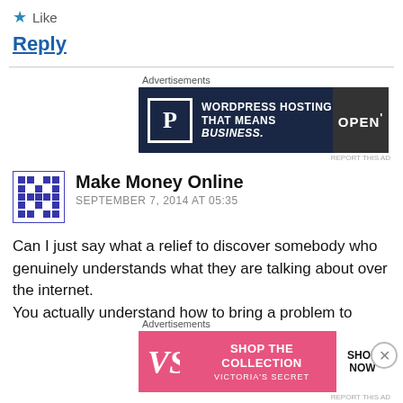★ Like
Reply
[Figure (infographic): WordPress Hosting advertisement banner with dark navy background, P logo box, text 'WORDPRESS HOSTING THAT MEANS BUSINESS.' and OPEN sign photo]
REPORT THIS AD
Make Money Online
SEPTEMBER 7, 2014 AT 05:35
Can I just say what a relief to discover somebody who genuinely understands what they are talking about over the internet.
You actually understand how to bring a problem to
[Figure (infographic): Victoria's Secret advertisement banner with pink background, VS logo, text 'SHOP THE COLLECTION' and 'SHOP NOW' white button]
REPORT THIS AD